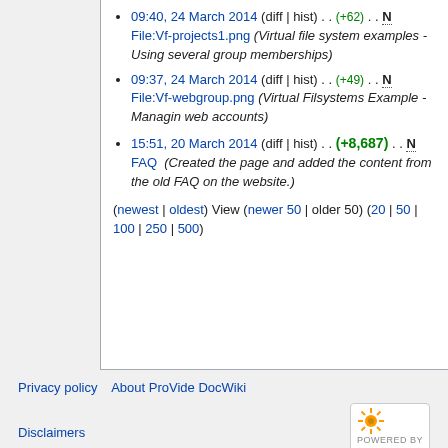09:40, 24 March 2014 (diff | hist) . . (+62) . . N File:Vf-projects1.png (Virtual file system examples - Using several group memberships)
09:37, 24 March 2014 (diff | hist) . . (+49) . . N File:Vf-webgroup.png (Virtual Filsystems Example - Managin web accounts)
15:51, 20 March 2014 (diff | hist) . . (+8,687) . . N FAQ (Created the page and added the content from the old FAQ on the website.)
(newest | oldest) View (newer 50 | older 50) (20 | 50 | 100 | 250 | 500)
Privacy policy   About ProVide DocWiki   Disclaimers